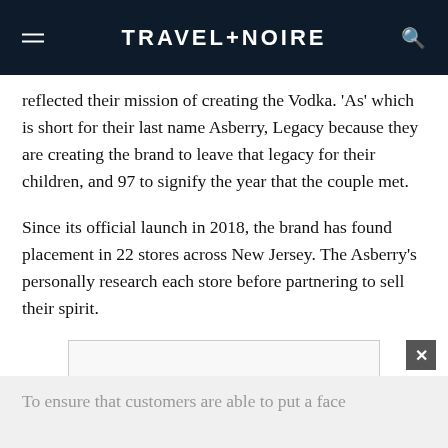TRAVEL+NOIRE
reflected their mission of creating the Vodka. 'As' which is short for their last name Asberry, Legacy because they are creating the brand to leave that legacy for their children, and 97 to signify the year that the couple met.
Since its official launch in 2018, the brand has found placement in 22 stores across New Jersey. The Asberry’s personally research each store before partnering to sell their spirit.
[Figure (other): Advertisement placeholder box 1]
[Figure (other): Advertisement placeholder box 2]
To ensure that customers are able to put a face